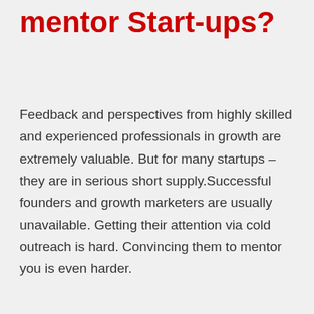mentor Start-ups?
Feedback and perspectives from highly skilled and experienced professionals in growth are extremely valuable. But for many startups – they are in serious short supply.Successful founders and growth marketers are usually unavailable. Getting their attention via cold outreach is hard. Convincing them to mentor you is even harder.